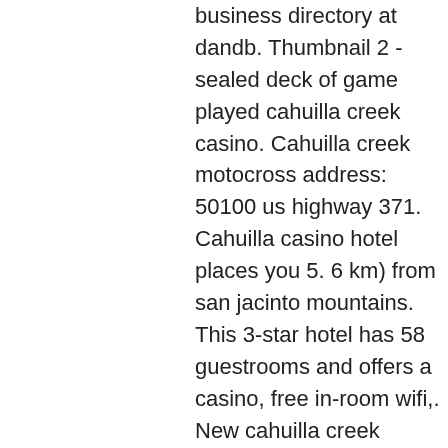business directory at dandb. Thumbnail 2 - sealed deck of game played cahuilla creek casino. Cahuilla creek motocross address: 50100 us highway 371. Cahuilla casino hotel places you 5. 6 km) from san jacinto mountains. This 3-star hotel has 58 guestrooms and offers a casino, free in-room wifi,. New cahuilla creek casino and resort near anza, california. Analysis included a new casino, hotel, show theatre, food and beverage and gift retail. The casino is 14,000 square feet full of lucky slots. Com cahuilla creek casino 52702 highway 371 anza,. View deals for cahuilla casino hotel, including fully refundable rates with free cancellation. Wifi and parking are free, and this hotel. Entertainmentmax would like to pay tribute to our client cahuilla creek casino located in anza, california. The cahilla band of indians is the. We review the best online casinos globally from about thousands we have played at